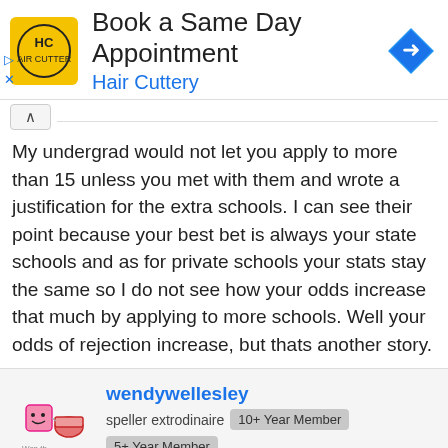[Figure (infographic): Advertisement banner for Hair Cuttery: 'Book a Same Day Appointment' with HC logo and navigation arrow icon]
My undergrad would not let you apply to more than 15 unless you met with them and wrote a justification for the extra schools. I can see their point because your best bet is always your state schools and as for private schools your stats stay the same so I do not see how your odds increase that much by applying to more schools. Well your odds of rejection increase, but thats another story.
wendywellesley
speller extrodinaire  10+ Year Member  5+ Year Member  15+ Year Member
Feb 6, 2005  #5
JonnyG said: